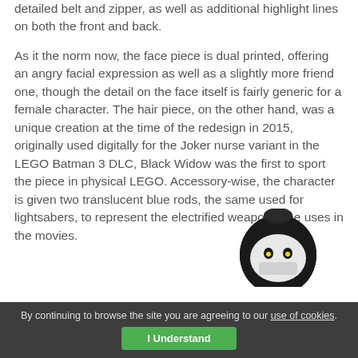detailed belt and zipper, as well as additional highlight lines on both the front and back.
As it the norm now, the face piece is dual printed, offering an angry facial expression as well as a slightly more friend one, though the detail on the face itself is fairly generic for a female character. The hair piece, on the other hand, was a unique creation at the time of the redesign in 2015, originally used digitally for the Joker nurse variant in the LEGO Batman 3 DLC, Black Widow was the first to sport the piece in physical LEGO. Accessory-wise, the character is given two translucent blue rods, the same used for lightsabers, to represent the electrified weapons she uses in the movies.
[Figure (photo): A black LEGO minifigure head with a white face mask printed on it, partially visible at the bottom right of the page.]
By continuing to browse the site you are agreeing to our use of cookies. I Understand